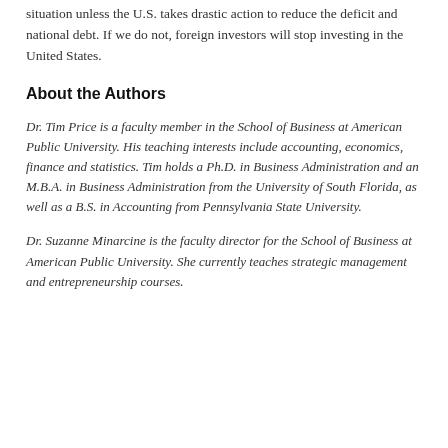situation unless the U.S. takes drastic action to reduce the deficit and national debt. If we do not, foreign investors will stop investing in the United States.
About the Authors
Dr. Tim Price is a faculty member in the School of Business at American Public University. His teaching interests include accounting, economics, finance and statistics. Tim holds a Ph.D. in Business Administration and an M.B.A. in Business Administration from the University of South Florida, as well as a B.S. in Accounting from Pennsylvania State University.
Dr. Suzanne Minarcine is the faculty director for the School of Business at American Public University. She currently teaches strategic management and entrepreneurship courses.